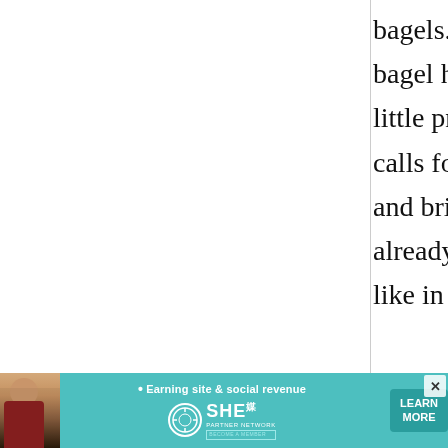bagels... And I can't find any decent bagel here in south france. But I had a little problem with your recipe, since it calls for a special kind of flour. Bread and brioche flour I've found in stores already have baking powder and the like in them. Could T45 or
[Figure (infographic): Advertisement banner for SHE Media Partner Network with text 'Earning site & social revenue', a Learn More button, woman's photo, and close button]